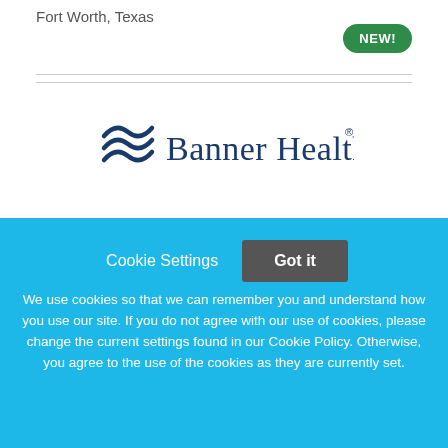Fort Worth, Texas
[Figure (logo): Banner Health logo with wave symbol and company name in navy blue]
Medical Assistant Supportive Care
Banner Health
Cookie Settings  Got it
We use cookies so that we can remember you and understand how you use our site. If you do not agree with our use of cookies, please change the current settings found in our Cookie Policy. Otherwise, you agree to the use of the cookies as they are currently set.